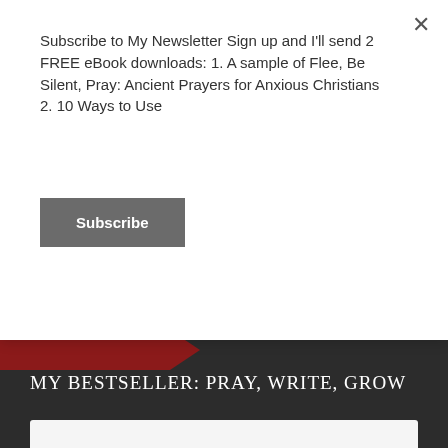Subscribe to My Newsletter Sign up and I'll send 2 FREE eBook downloads: 1. A sample of Flee, Be Silent, Pray: Ancient Prayers for Anxious Christians 2. 10 Ways to Use
Subscribe
MY BESTSELLER: PRAY, WRITE, GROW
[Figure (screenshot): Partial book cover with white/light gray background showing bold black text 'PRAY, WRITE, GROW' in large uppercase font]
PRAY, WRITE, GROW